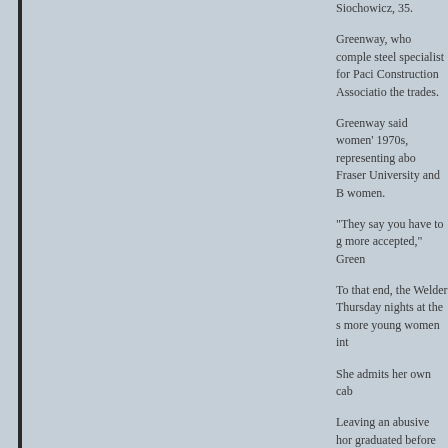Siochowicz, 35.
Greenway, who comple steel specialist for Paci Construction Associatio the trades.
Greenway said women' 1970s, representing ab Fraser University and B women.
"They say you have to g more accepted," Green
To that end, the Welder Thursday nights at the s more young women int
She admits her own cab
Leaving an abusive hor graduated before migra nutrition and stumbled i
She worked at a coppe paraphernalia. She wer